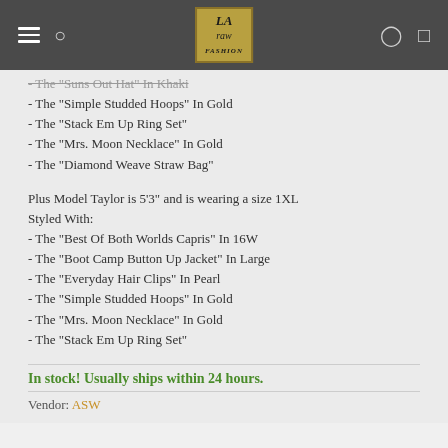LA Raw Fashion navigation bar
- The "Suns Out Hat" In Khaki (strikethrough)
- The "Simple Studded Hoops" In Gold
- The "Stack Em Up Ring Set"
- The "Mrs. Moon Necklace" In Gold
- The "Diamond Weave Straw Bag"
Plus Model Taylor is 5'3" and is wearing a size 1XL
Styled With:
- The "Best Of Both Worlds Capris" In 16W
- The "Boot Camp Button Up Jacket" In Large
- The "Everyday Hair Clips" In Pearl
- The "Simple Studded Hoops" In Gold
- The "Mrs. Moon Necklace" In Gold
- The "Stack Em Up Ring Set"
In stock! Usually ships within 24 hours.
Vendor: ASW